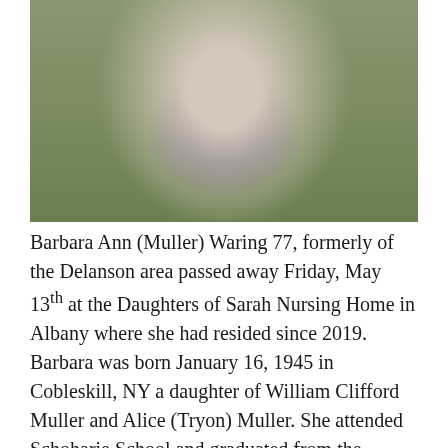[Figure (photo): Portrait photo of an elderly woman sitting in a wooden chair outdoors, wearing a light blue plaid shirt over a dark shirt, with green grass visible in the background.]
Barbara Ann (Muller) Waring 77, formerly of the Delanson area passed away Friday, May 13th at the Daughters of Sarah Nursing Home in Albany where she had resided since 2019. Barbara was born January 16, 1945 in Cobleskill, NY a daughter of William Clifford Muller and Alice (Tryon) Muller. She attended Schoharie School and graduated from the former Cobleskill High School, SUNY Cobleskill, SUCO Oneonta and finally, received her Masters from the University of Maryland. She worked as a Dietician for NYS Department